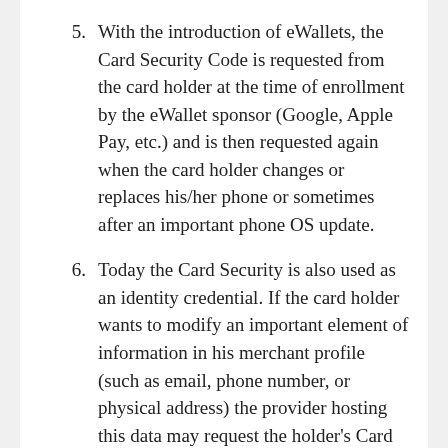5. With the introduction of eWallets, the Card Security Code is requested from the card holder at the time of enrollment by the eWallet sponsor (Google, Apple Pay, etc.) and is then requested again when the card holder changes or replaces his/her phone or sometimes after an important phone OS update.
6. Today the Card Security is also used as an identity credential. If the card holder wants to modify an important element of information in his merchant profile (such as email, phone number, or physical address) the provider hosting this data may request the holder's Card Security Code for the payment card on file as a means of authenticating his identity. For the same reason, a merchant often requires the Card